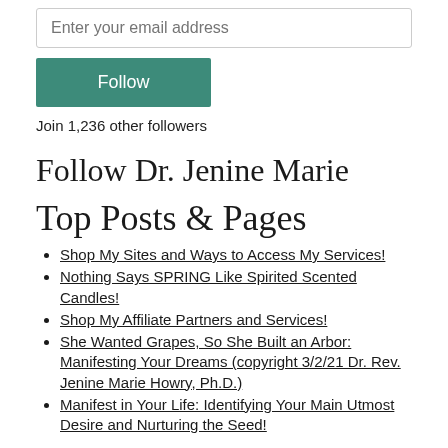Enter your email address
Follow
Join 1,236 other followers
Follow Dr. Jenine Marie
Top Posts & Pages
Shop My Sites and Ways to Access My Services!
Nothing Says SPRING Like Spirited Scented Candles!
Shop My Affiliate Partners and Services!
She Wanted Grapes, So She Built an Arbor: Manifesting Your Dreams (copyright 3/2/21 Dr. Rev. Jenine Marie Howry, Ph.D.)
Manifest in Your Life: Identifying Your Main Utmost Desire and Nurturing the Seed!